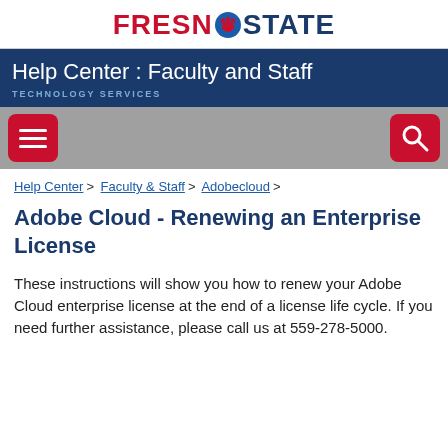FRESNO STATE
Help Center : Faculty and Staff
TECHNOLOGY SERVICES
Help Center > Faculty & Staff > Adobecloud >
Adobe Cloud - Renewing an Enterprise License
These instructions will show you how to renew your Adobe Cloud enterprise license at the end of a license life cycle. If you need further assistance, please call us at 559-278-5000.